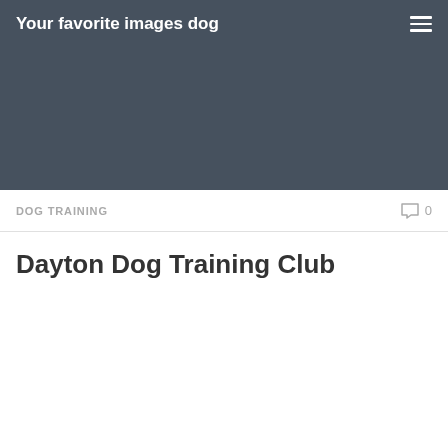Your favorite images dog
DOG TRAINING
Dayton Dog Training Club